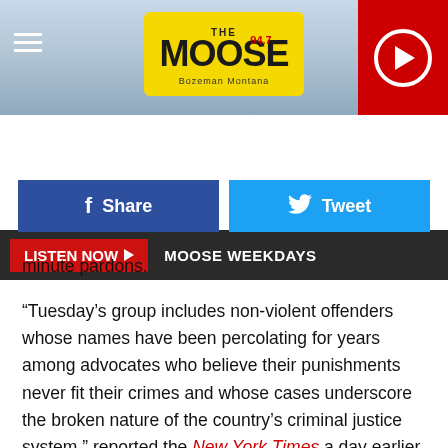[Figure (screenshot): The Moose 94.7 FM radio station header banner with logo, hamburger menu icon on left, and red play button on right. Background shows a snowy/watery landscape.]
[Figure (infographic): Dark bar with red 'LISTEN NOW ▶' button and white text 'MOOSE WEEKDAYS']
[Figure (infographic): Social sharing buttons: blue Facebook Share button and cyan Twitter Tweet button]
minute pardons.
“Tuesday’s group includes non-violent offenders whose names have been percolating for years among advocates who believe their punishments never fit their crimes and whose cases underscore the broken nature of the country’s criminal justice system,” reported the New York Times a day earlier.
According to CNN, Trump held a meeting on Sunday with the White House counsel—Pat Cipollone, Ivanka Trump and Jared Kushner, to review candidates for his final pardons